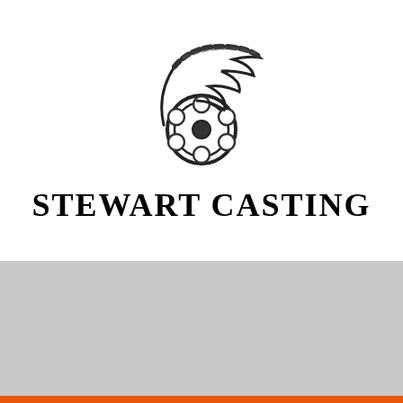[Figure (logo): Stewart Casting logo: a film reel with a sweeping feather/wing shape above it, black and white illustration]
STEWART CASTING
Kimmie Stewart Casting RUSH!!!!! SUBMIT ASAP!!!!! PDD – CHARLOTTE, NC –...
August 25, 2022